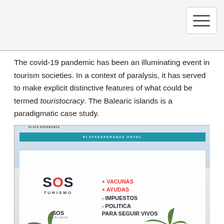The covid-19 pandemic has been an illuminating event in tourism societies. In a context of paralysis, it has served to make explicit distinctive features of what could be termed touristocracy. The Balearic islands is a paradigmatic case study.
[Figure (photo): Photograph of the Playa Esperanza Hotel facade with a large white banner reading 'SOS TURISMO' on the left and '+ VACUNAS + AYUDAS - IMPUESTOS - POLITICA PARA SEGUIR VIVOS' on the right in red and dark blue bold text. Palm trees are visible in front of the building.]